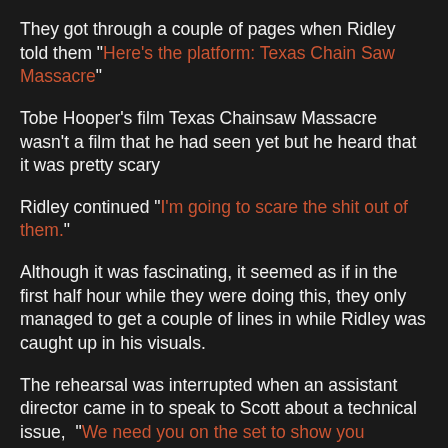They got through a couple of pages when Ridley told them "Here's the platform: Texas Chain Saw Massacre"
Tobe Hooper's film Texas Chainsaw Massacre wasn't a film that he had seen yet but he heard that it was pretty scary
Ridley continued "I'm going to scare the shit out of them."
Although it was fascinating, it seemed as if in the first half hour while they were doing this, they only managed to get a couple of lines in while Ridley was caught up in his visuals.
The rehearsal was interrupted when an assistant director came in to speak to Scott about a technical issue, "We need you on the set to show you something." and Ridley apologised as he left the room.
Skerrit looked around at the other actors, and now he was ship's captain he felt that he had to say something, said "I guess this makes me the captain of the ship. We might as well all know that we're in this together." somewhere with